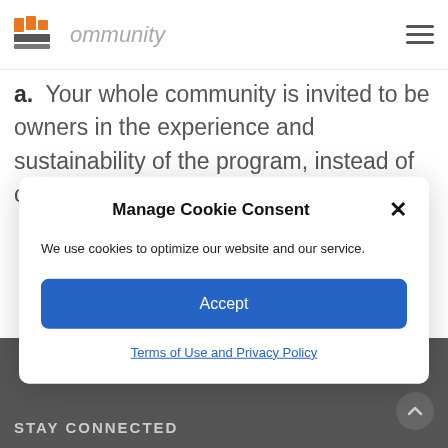community
a. Your whole community is invited to be owners in the experience and sustainability of the program, instead of one organization,
Manage Cookie Consent
We use cookies to optimize our website and our service.
Accept
Terms of Use and Privacy Policy
STAY CONNECTED